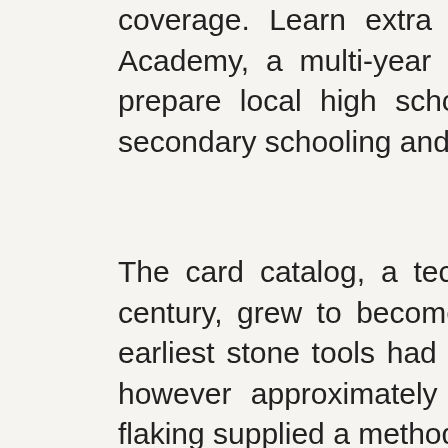coverage. Learn extra concerning the Art Harper Saturday Academy, a multi-year program designed to encourage and prepare local high school college students to pursue post-secondary schooling and careers in STEM-related fields.
The card catalog, a technology developed in the nineteenth century, grew to become ubiquitous in the 20th century. The earliest stone tools had been little more than a fractured rock, however approximately 75,000 years in the past, pressure flaking supplied a method to make much finer work.
Now a contract business author and journalist, Allen Bernard is the former managing editor of CIOUpdate.com, eSecurityPlanet.com, ITSMWatch.com, and EnterpriseNetworkingPlanet.com. As real-time rendering will get closer to photorealism, which is already happening, Rossi stated new forms of interactive films will start to appear where the consumer can choose to be a half of the story, experiencing it from a first-person